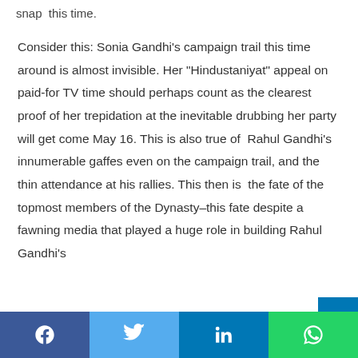snap  this time.
Consider this: Sonia Gandhi’s campaign trail this time around is almost invisible. Her “Hindustaniyat” appeal on paid-for TV time should perhaps count as the clearest proof of her trepidation at the inevitable drubbing her party will get come May 16. This is also true of  Rahul Gandhi’s innumerable gaffes even on the campaign trail, and the thin attendance at his rallies. This then is  the fate of the topmost members of the Dynasty–this fate despite a fawning media that played a huge role in building Rahul Gandhi’s
[Figure (infographic): Social media share bar with Facebook (dark blue), Twitter (light blue), LinkedIn (medium blue), and WhatsApp (green) buttons]